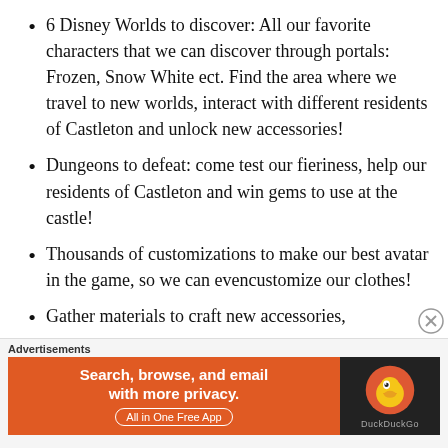6 Disney Worlds to discover: All our favorite characters that we can discover through portals: Frozen, Snow White ect. Find the area where we travel to new worlds, interact with different residents of Castleton and unlock new accessories!
Dungeons to defeat: come test our fieriness, help our residents of Castleton and win gems to use at the castle!
Thousands of customizations to make our best avatar in the game, so we can evencustomize our clothes!
Gather materials to craft new accessories,
[Figure (other): DuckDuckGo advertisement banner: orange background on left with text 'Search, browse, and email with more privacy. All in One Free App' and dark background on right with DuckDuckGo duck logo and brand name.]